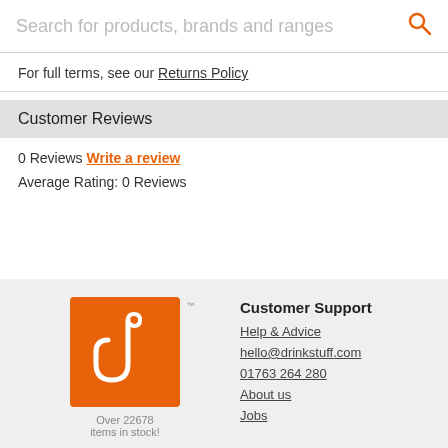Search for products, brands and ranges
For full terms, see our Returns Policy
Customer Reviews
0 Reviews Write a review
Average Rating: 0 Reviews
[Figure (logo): drinkstuff logo — orange square with white U-shaped hook icon, with trademark symbol]
Over 22678 items in stock!
Customer Support
Help & Advice
hello@drinkstuff.com
01763 264 280
About us
Jobs